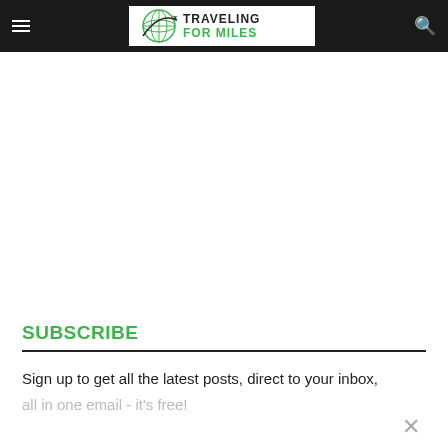Traveling For Miles
[Figure (logo): Traveling For Miles logo with globe and airplane, white background, green and dark text]
SUBSCRIBE
Sign up to get all the latest posts, direct to your inbox,
all in one email - it's free!